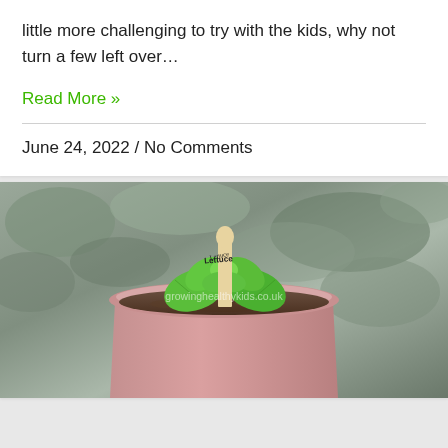little more challenging to try with the kids, why not turn a few left over…
Read More »
June 24, 2022 / No Comments
[Figure (photo): A small lettuce seedling growing in a terracotta pot with soil, labeled with a wooden popsicle stick that reads 'Lettuce'. Background shows a rocky/stone surface. Watermark reads 'growinghealthykids.co.uk'.]